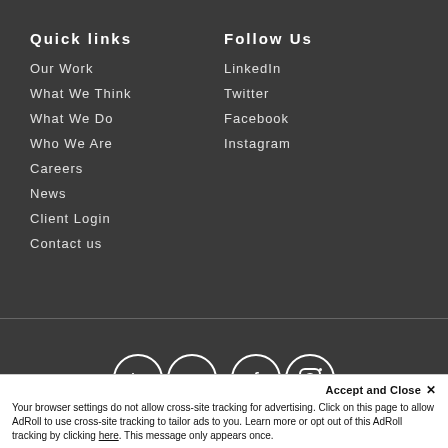Quick links
Our Work
What We Think
What We Do
Who We Are
Careers
News
Client Login
Contact us
Follow Us
LinkedIn
Twitter
Facebook
Instagram
[Figure (illustration): Social media icons: LinkedIn, Twitter, Facebook, Instagram in circle outlines]
© 2022, Merkle Inc. · All Rights Reserved | Priva... Policy...
Accept and Close ×
Your browser settings do not allow cross-site tracking for advertising. Click on this page to allow AdRoll to use cross-site tracking to tailor ads to you. Learn more or opt out of this AdRoll tracking by clicking here. This message only appears once.